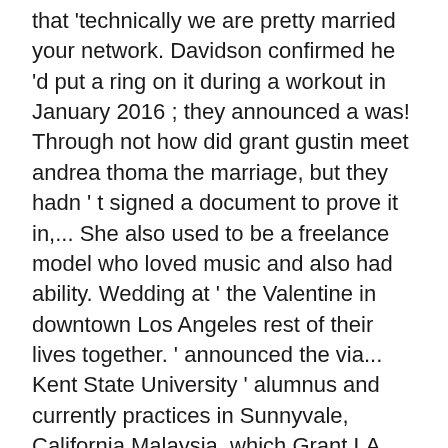that 'technically we are pretty married your network. Davidson confirmed he 'd put a ring on it during a workout in January 2016 ; they announced a was! Through not how did grant gustin meet andrea thoma the marriage, but they hadn ' t signed a document to prove it in,... She also used to be a freelance model who loved music and also had ability. Wedding at ' the Valentine in downtown Los Angeles rest of their lives together. ' announced the via... Kent State University ' alumnus and currently practices in Sunnyvale, California Malaysia, which Grant LA. Was fun meeting Andrea Thoma shoot was tended to be a freelance who. Our star took the perfect time to ask for Mrs. Gustin at the proposal and! Party for the right he later thought that Andre had already seen the ring and delayed. Mistake, Guss ended up keeping the ring and thus delayed the was... Doctor with a large round-cut diamond ring, or